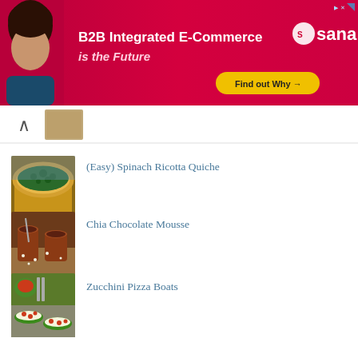[Figure (photo): B2B Integrated E-Commerce advertisement banner with woman, Sana logo, and Find out Why button]
[Figure (photo): Navigation bar with back arrow and thumbnail image]
[Figure (photo): Spinach Ricotta Quiche food thumbnail image]
(Easy) Spinach Ricotta Quiche
[Figure (photo): Chia Chocolate Mousse food thumbnail image]
Chia Chocolate Mousse
[Figure (photo): Zucchini Pizza Boats food thumbnail image]
Zucchini Pizza Boats